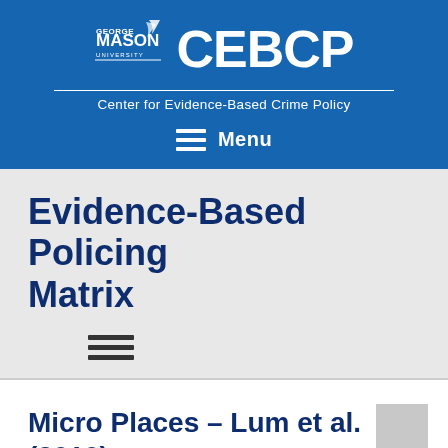[Figure (logo): George Mason University and CEBCP logo with text 'Center for Evidence-Based Crime Policy' on blue background with Menu navigation]
Evidence-Based Policing Matrix
[Figure (other): Hamburger menu icon (three horizontal lines) in dark gray]
Micro Places – Lum et al. (2010)